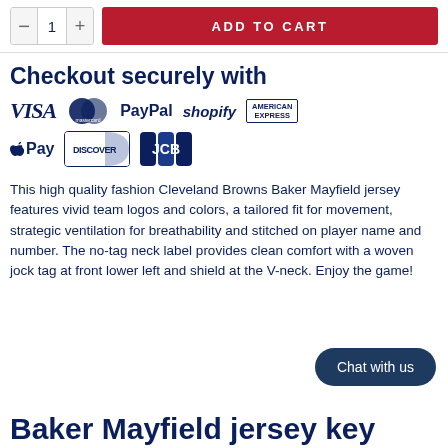[Figure (screenshot): Top bar with quantity selector showing minus, 1, plus buttons and a red ADD TO CART button]
Checkout securely with
[Figure (other): Payment method logos: VISA, Mastercard, PayPal, shopify, American Express, Apple Pay, Discover, JCB]
This high quality fashion Cleveland Browns Baker Mayfield jersey features vivid team logos and colors, a tailored fit for movement, strategic ventilation for breathability and stitched on player name and number. The no-tag neck label provides clean comfort with a woven jock tag at front lower left and shield at the V-neck.  Enjoy the game!
[Figure (other): Chat with us button]
Baker Mayfield jersey key